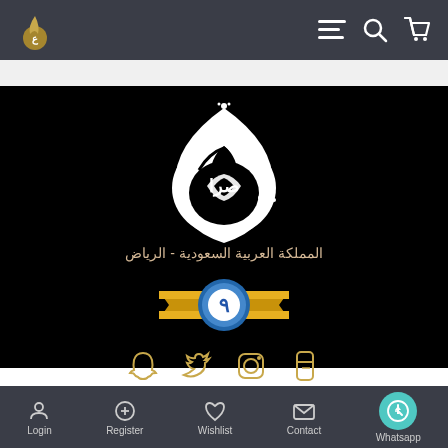[Figure (screenshot): Top navigation bar with a small logo on the left and hamburger menu, search, and cart icons on the right, on a dark charcoal background]
[Figure (logo): Arabic calligraphy logo in white on black background, with Arabic text below reading المملكة العربية السعودية - الرياض, a circular badge with a 9 symbol wrapped in gold ribbon, and social media icons (Snapchat, Twitter, Instagram, Tumblr)]
[Figure (screenshot): Bottom navigation bar with Login, Register, Wishlist, Contact, and Whatsapp icons on dark charcoal background]